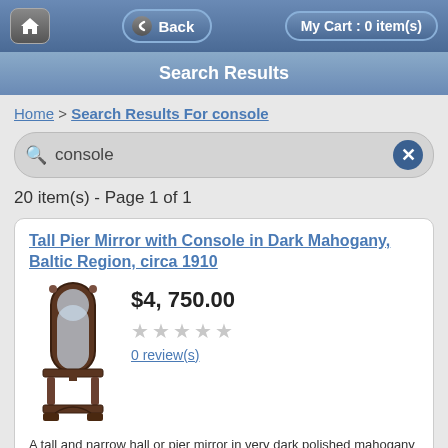Home Back My Cart : 0 item(s)
Search Results
Home > Search Results For console
console
20 item(s) - Page 1 of 1
Tall Pier Mirror with Console in Dark Mahogany, Baltic Region, circa 1910
[Figure (photo): Tall pier mirror with console in dark mahogany wood, showing arched top mirror and decorative base with columns]
$4, 750.00
0 review(s)
A tall and narrow hall or pier mirror in very dark polished mahogany with reeded molding and arched top ending in bullseye rosettes resting on a low console supported by columns composed of bell-and-baluster turnings, whose apron and plinth are embellished with arches. Mirror